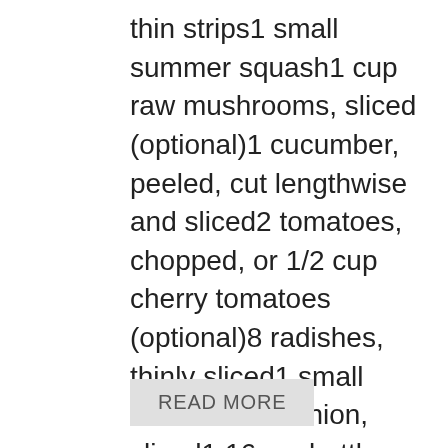thin strips1 small summer squash1 cup raw mushrooms, sliced (optional)1 cucumber, peeled, cut lengthwise and sliced2 tomatoes, chopped, or 1/2 cup cherry tomatoes (optional)8 radishes, thinly sliced1 small sweet or red onion, sliced1 16 oz. bottle nonfat Italian Dressing Mix all vegetables except tomato, radishes, and red onion.  (Red foods lose thier color if marinated too long. )  Pour dressing over vegetables, and toss to coat.  Marinate in the refrigerator…
READ MORE